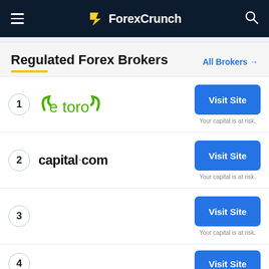ForexCrunch
Regulated Forex Brokers
All Brokers →
1 eToro – Visit Site – Your capital is at risk.
2 capital.com – Visit Site – Your capital is at risk.
3 – Visit Site – Your capital is at risk.
4 – Visit Site (partial)